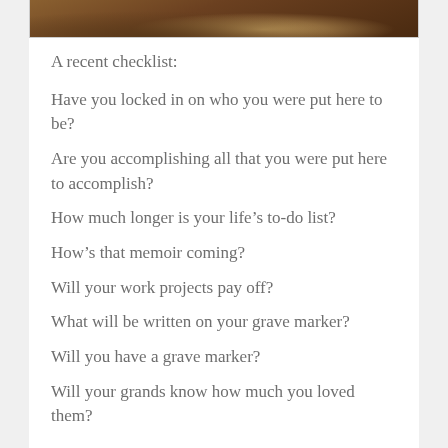[Figure (photo): Partial bottom edge of a photo showing a brown/earthy texture, likely a close-up of an animal or natural surface]
A recent checklist:
Have you locked in on who you were put here to be?
Are you accomplishing all that you were put here to accomplish?
How much longer is your life’s to-do list?
How’s that memoir coming?
Will your work projects pay off?
What will be written on your grave marker?
Will you have a grave marker?
Will your grands know how much you loved them?